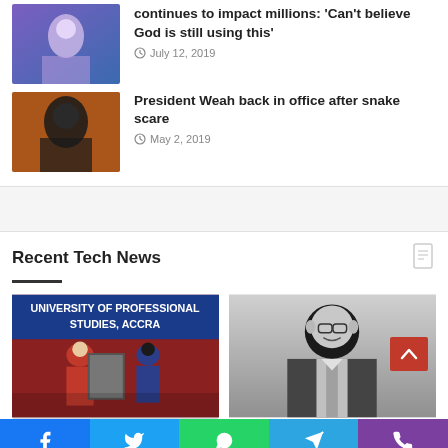[Figure (photo): Person performing on stage with blue/purple lighting]
continues to impact millions: 'Can't believe God is still using this'
July 12, 2019
[Figure (photo): Portrait of a man in a dark suit against orange/brown background]
President Weah back in office after snake scare
May 2, 2019
Recent Tech News
[Figure (photo): University of Professional Studies, Accra ceremony with people holding a framed portrait]
[Figure (photo): Black and white portrait of a man in a suit and tie]